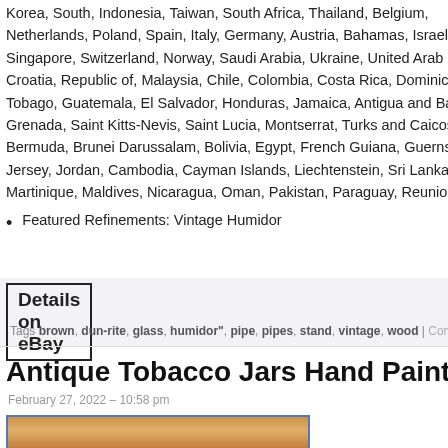Korea, South, Indonesia, Taiwan, South Africa, Thailand, Belgium, Netherlands, Poland, Spain, Italy, Germany, Austria, Bahamas, Israel, M Singapore, Switzerland, Norway, Saudi Arabia, Ukraine, United Arab E Croatia, Republic of, Malaysia, Chile, Colombia, Costa Rica, Dominican Tobago, Guatemala, El Salvador, Honduras, Jamaica, Antigua and Ba Grenada, Saint Kitts-Nevis, Saint Lucia, Montserrat, Turks and Caicos Bermuda, Brunei Darussalam, Bolivia, Egypt, French Guiana, Guernsey Jersey, Jordan, Cambodia, Cayman Islands, Liechtenstein, Sri Lanka, Martinique, Maldives, Nicaragua, Oman, Pakistan, Paraguay, Reunion, Uru
Featured Refinements: Vintage Humidor
Details on eBay
Tags brown, dun-rite, glass, humidor", pipe, pipes, stand, vintage, wood | Comments O
Antique Tobacco Jars Hand Painted Indi
February 27, 2022 – 10:58 pm
[Figure (photo): Partial image of antique tobacco jars, warm orange/brown tones, cropped at bottom of page]